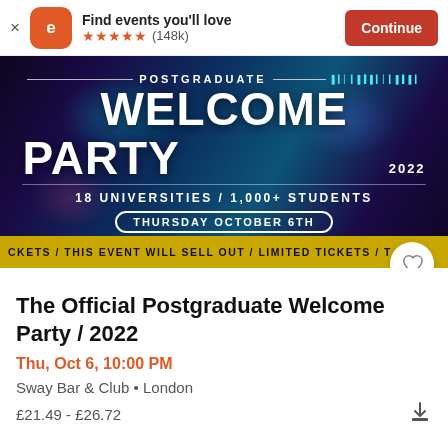Find events you'll love ★★★★★ (148k) Continue
[Figure (photo): Postgraduate Welcome Party 2022 event banner with dark nightclub crowd background. Text: POSTGRADUATE / WELCOME PARTY / 2022 / 18 UNIVERSITIES / 1,000+ STUDENTS / THURSDAY OCTOBER 6TH. Yellow ticker bar: CKETS / THIS EVENT WILL SELL OUT / LIMITED TICKETS / T... VE...]
The Official Postgraduate Welcome Party / 2022
Thu, Oct 6, 10:00 PM
Sway Bar & Club • London
£21.49 - £26.72